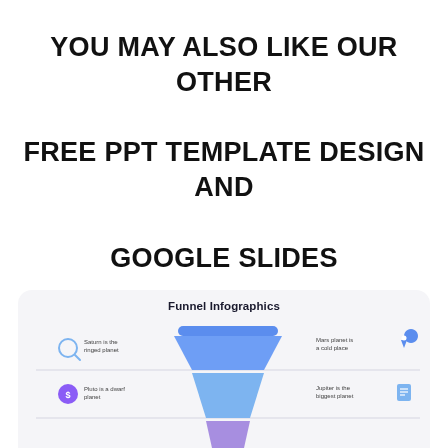YOU MAY ALSO LIKE OUR OTHER FREE PPT TEMPLATE DESIGN AND GOOGLE SLIDES
[Figure (infographic): Funnel Infographics slide preview showing a layered funnel diagram with four levels. Left side labels: 'Saturn is the ringed planet' (with search icon), 'Pluto is a dwarf planet' (with dollar icon), 'Venus has a beautiful name' (with target icon). Right side labels: 'Mars planet is a cold place' (with location pin icon), 'Jupiter is the biggest planet' (with document icon), 'Earth is where we live on' (with magnet icon). Funnel layers are blue (top), medium blue, light purple, and deep purple/pink (bottom).]